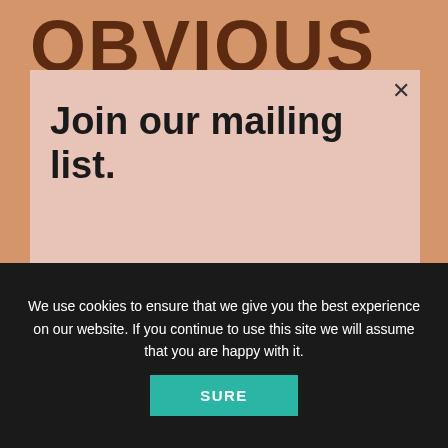Join our mailing list.
Be the first to know about new arrivals, sales, and special events.
First name
Email address
We use cookies to ensure that we give you the best experience on our website. If you continue to use this site we will assume that you are happy with it.
SURE